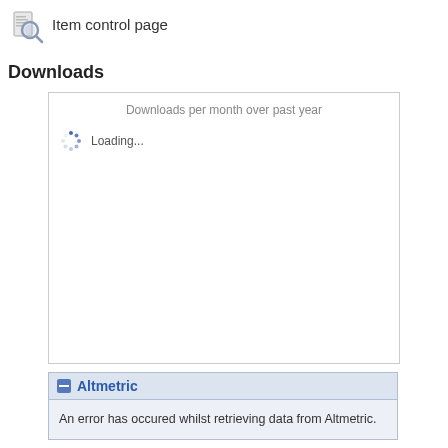[Figure (other): Item control page icon — a magnifying glass over a document]
Item control page
Downloads
[Figure (other): Downloads per month over past year chart area showing a loading spinner and 'Loading...' text]
Altmetric
An error has occured whilst retrieving data from Altmetric.